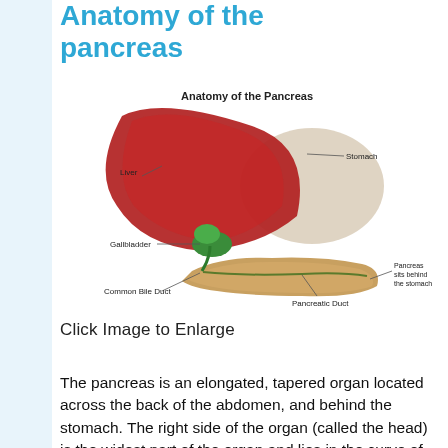Anatomy of the pancreas
[Figure (illustration): Medical illustration titled 'Anatomy of the Pancreas' showing the liver (red), stomach (beige/gray), gallbladder (green), pancreas (tan/brown), common bile duct, and pancreatic duct with labeled callouts.]
Click Image to Enlarge
The pancreas is an elongated, tapered organ located across the back of the abdomen, and behind the stomach. The right side of the organ (called the head) is the widest part of the organ and lies in the curve of the duodenum (the first section of the small intestine). The tapered left side extends slightly upward (called the body of